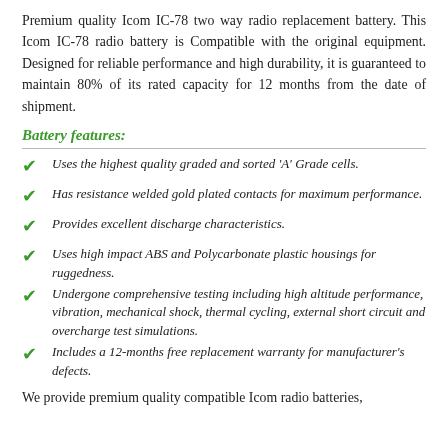Premium quality Icom IC-78 two way radio replacement battery. This Icom IC-78 radio battery is Compatible with the original equipment. Designed for reliable performance and high durability, it is guaranteed to maintain 80% of its rated capacity for 12 months from the date of shipment.
Battery features:
Uses the highest quality graded and sorted 'A' Grade cells.
Has resistance welded gold plated contacts for maximum performance.
Provides excellent discharge characteristics.
Uses high impact ABS and Polycarbonate plastic housings for ruggedness.
Undergone comprehensive testing including high altitude performance, vibration, mechanical shock, thermal cycling, external short circuit and overcharge test simulations.
Includes a 12-months free replacement warranty for manufacturer's defects.
We provide premium quality compatible Icom radio batteries,